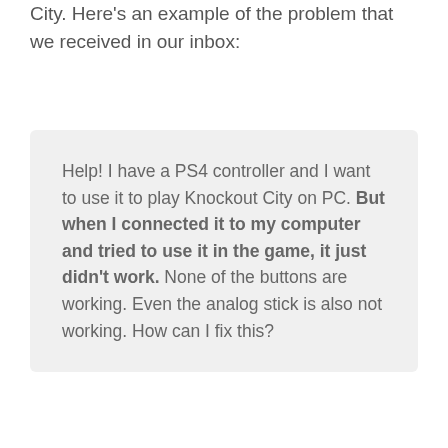City. Here's an example of the problem that we received in our inbox:
Help! I have a PS4 controller and I want to use it to play Knockout City on PC. But when I connected it to my computer and tried to use it in the game, it just didn't work. None of the buttons are working. Even the analog stick is also not working. How can I fix this?